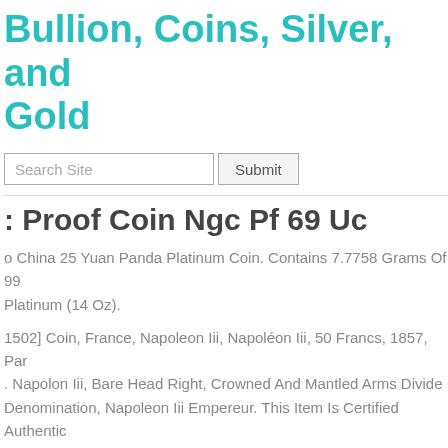Bullion, Coins, Silver, and Gold
Proof Coin Ngc Pf 69 Uc
China 25 Yuan Panda Platinum Coin. Contains 7.7758 Grams Of 99 Platinum (14 Oz).
[1502] Coin, France, Napoleon Iii, Napoléon Iii, 50 Francs, 1857, Par . Napolon Iii, Bare Head Right, Crowned And Mantled Arms Divide Denomination, Napoleon Iii Empereur. This Item Is Certified Authentic owing The Expertise Of Two Recognized Numismatic Experts. As Pa ur Procedures To Fight Against The Trafficking Of Cultural Goods, venance Of This Item Has Been Rigorously Verified.
nada 1984 Gold 1/2 Oz $100 Ngc